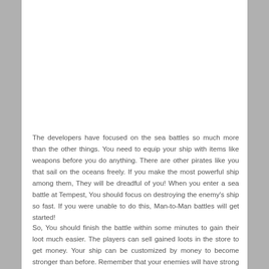The developers have focused on the sea battles so much more than the other things. You need to equip your ship with items like weapons before you do anything. There are other pirates like you that sail on the oceans freely. If you make the most powerful ship among them, They will be dreadful of you! When you enter a sea battle at Tempest, You should focus on destroying the enemy's ship so fast. If you were unable to do this, Man-to-Man battles will get started!
So, You should finish the battle within some minutes to gain their loot much easier. The players can sell gained loots in the store to get money. Your ship can be customized by money to become stronger than before. Remember that your enemies will have strong ships in the future too. So, You should build a better one. There is a detailed